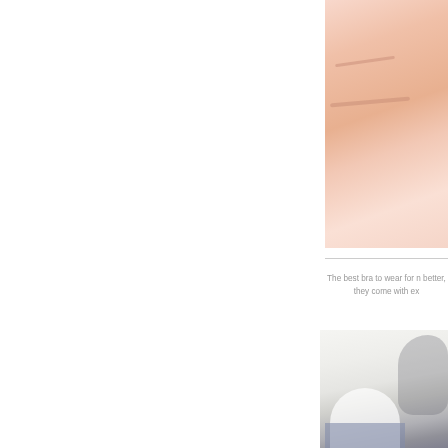[Figure (photo): Close-up photo of a pink/nude bra on the right side of the page, partially cropped]
The best bra to wear for n better, they come with ex
[Figure (photo): Photo of a pregnant woman sitting, wearing white clothing and jeans, on the right side of the page, partially cropped]